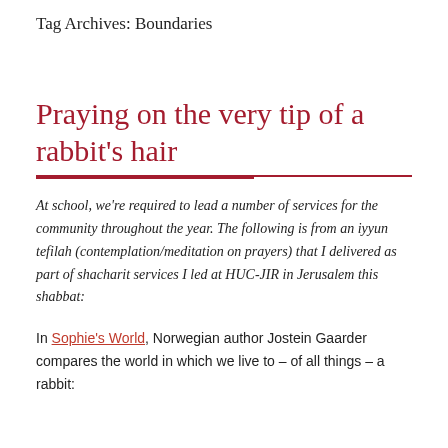Tag Archives: Boundaries
Praying on the very tip of a rabbit's hair
At school, we're required to lead a number of services for the community throughout the year. The following is from an iyyun tefilah (contemplation/meditation on prayers) that I delivered as part of shacharit services I led at HUC-JIR in Jerusalem this shabbat:
In Sophie's World, Norwegian author Jostein Gaarder compares the world in which we live to – of all things – a rabbit: